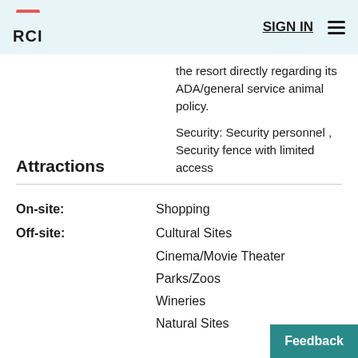RCI | SIGN IN
the resort directly regarding its ADA/general service animal policy.

Security: Security personnel , Security fence with limited access
Attractions
|  |  |
| --- | --- |
| On-site: | Shopping |
| Off-site: | Cultural Sites |
|  | Cinema/Movie Theater |
|  | Parks/Zoos |
|  | Wineries |
|  | Natural Sites |